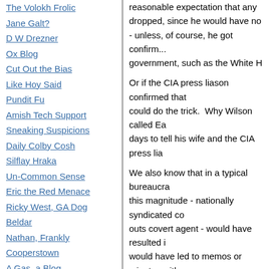The Volokh Frolic
Jane Galt?
D W Drezner
Ox Blog
Cut Out the Bias
Like Hoy Said
Pundit Fu
Amish Tech Support
Sneaking Suspicions
Daily Colby Cosh
Silflay Hraka
Un-Common Sense
Eric the Red Menace
Ricky West, GA Dog
Beldar
Nathan, Frankly
Cooperstown
A Gas, a Blog
reasonable expectation that any ... dropped, since he would have no... - unless, of course, he got confirm... government, such as the White H...
Or if the CIA press liason confirmed that ... could do the trick. Why Wilson called Ea... days to tell his wife and the CIA press lia...
We also know that in a typical bureaucra... this magnitude - nationally syndicated co... outs covert agent - would have resulted i... would have led to memos or minutes with... "How We Will Improve".
We also know that, when the CIA is not d... getting from a reporter, they are not shy a... did not seem to happen here, based on Novak's editors.
However, we have no doubt that, if the C... Harlow describes it to have been, there w... Someone ought to ask him about that.
Bob Somerby of the Daily Howler has be... by Mr. Harlow to warn Mr. Novak off. He...